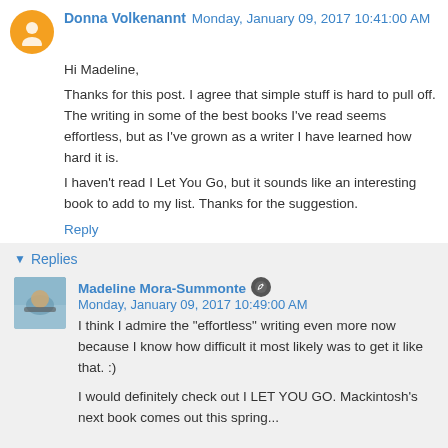Donna Volkenannt Monday, January 09, 2017 10:41:00 AM
Hi Madeline,
Thanks for this post. I agree that simple stuff is hard to pull off. The writing in some of the best books I've read seems effortless, but as I've grown as a writer I have learned how hard it is.
I haven't read I Let You Go, but it sounds like an interesting book to add to my list. Thanks for the suggestion.
Reply
Replies
Madeline Mora-Summonte Monday, January 09, 2017 10:49:00 AM
I think I admire the "effortless" writing even more now because I know how difficult it most likely was to get it like that. :)
I would definitely check out I LET YOU GO. Mackintosh's next book comes out this spring...